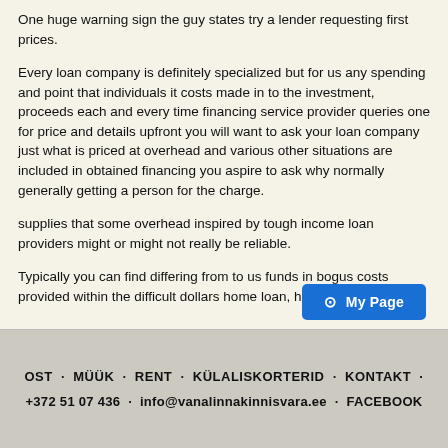One huge warning sign the guy states try a lender requesting first prices.
Every loan company is definitely specialized but for us any spending and point that individuals it costs made in to the investment, proceeds each and every time financing service provider queries one for price and details upfront you will want to ask your loan company just what is priced at overhead and various other situations are included in obtained financing you aspire to ask why normally generally getting a person for the charge.
supplies that some overhead inspired by tough income loan providers might or might not really be reliable.
Typically you can find differing from to us funds in bogus costs provided within the difficult dollars home loan, he states.
OST · MÜÜK · RENT · KÜLALISKORTERID · KONTAKT · +372 51 07 436 · info@vanalinnakinnisvara.ee · FACEBOOK